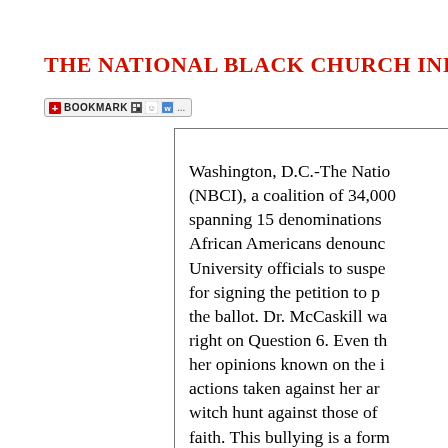THE NATIONAL BLACK CHURCH INITIATIV
[Figure (screenshot): Bookmark toolbar widget with plus icon, BOOKMARK text, and small social sharing icons]
Washington, D.C.-The Natio (NBCI), a coalition of 34,000 spanning 15 denominations African Americans denounc University officials to suspe for signing the petition to p the ballot. Dr. McCaskill wa right on Question 6. Even th her opinions known on the i actions taken against her ar witch hunt against those of faith. This bullying is a form believes that if Question 6 i only get worse.
The National Black Church to protest the suspension of McCaskill was suspended w